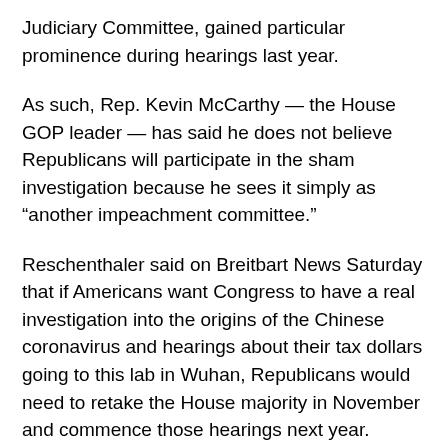Judiciary Committee, gained particular prominence during hearings last year.
As such, Rep. Kevin McCarthy — the House GOP leader — has said he does not believe Republicans will participate in the sham investigation because he sees it simply as “another impeachment committee.”
Reschenthaler said on Breitbart News Saturday that if Americans want Congress to have a real investigation into the origins of the Chinese coronavirus and hearings about their tax dollars going to this lab in Wuhan, Republicans would need to retake the House majority in November and commence those hearings next year.
“It’s imperative that we as House Republicans take back the House in this next election because Nancy Pelosi and the